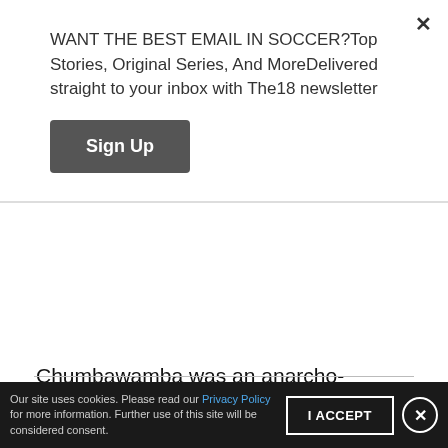WANT THE BEST EMAIL IN SOCCER?Top Stories, Original Series, And MoreDelivered straight to your inbox with The18 newsletter
Sign Up
Chumbawamba was an anarcho-communist punk band formed in Burnley in 1982 that never really achieved much mainstream acclaim. Then, out of nowhere, they released “Tubthumping,” a poppy drinking anthem.
[Figure (screenshot): Video thumbnail showing Chumbawamba - Tubthumping with a pink circle C logo on dark red background]
Our site uses cookies. Please read our Privacy Policy for more information. Further use of this site will be considered consent.
I ACCEPT